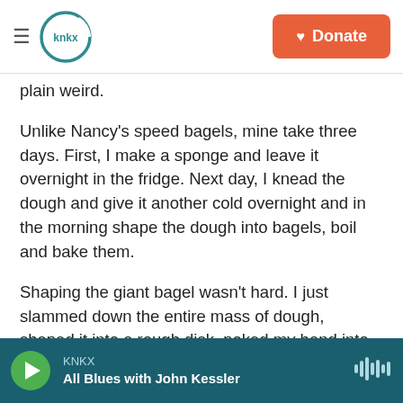KNKX | Donate
plain weird.
Unlike Nancy's speed bagels, mine take three days. First, I make a sponge and leave it overnight in the fridge. Next day, I knead the dough and give it another cold overnight and in the morning shape the dough into bagels, boil and bake them.
Shaping the giant bagel wasn't hard. I just slammed down the entire mass of dough, shaped it into a rough disk, poked my hand into the middle and worked a large hole into it. I was concerned that it
KNKX
All Blues with John Kessler